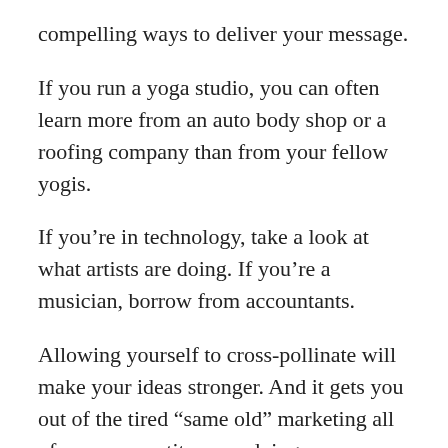compelling ways to deliver your message.
If you run a yoga studio, you can often learn more from an auto body shop or a roofing company than from your fellow yogis.
If you’re in technology, take a look at what artists are doing. If you’re a musician, borrow from accountants.
Allowing yourself to cross-pollinate will make your ideas stronger. And it gets you out of the tired “same old” marketing all of your competitors are doing.